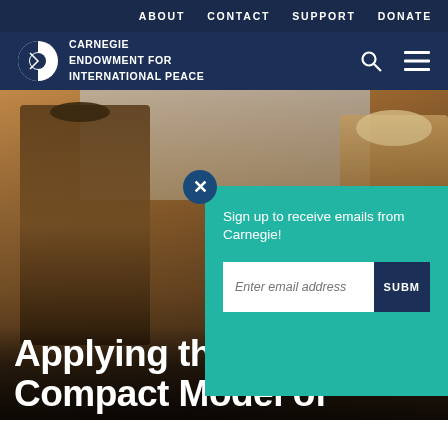ABOUT   CONTACT   SUPPORT   DONATE
[Figure (logo): Carnegie Endowment for International Peace logo — white circle/globe icon with CARNEGIE ENDOWMENT FOR INTERNATIONAL PEACE text in white]
[Figure (photo): Photograph of people in desert/arid setting carrying loads, warm sandy tones, with teal email signup modal overlay and close button, modal text: Sign up to receive emails from Carnegie! with email input field and SUBM[IT] button]
Applying the Compact Model of